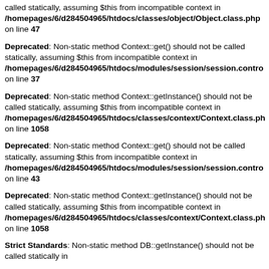called statically, assuming $this from incompatible context in /homepages/6/d284504965/htdocs/classes/object/Object.class.php on line 47
Deprecated: Non-static method Context::get() should not be called statically, assuming $this from incompatible context in /homepages/6/d284504965/htdocs/modules/session/session.contro on line 37
Deprecated: Non-static method Context::getInstance() should not be called statically, assuming $this from incompatible context in /homepages/6/d284504965/htdocs/classes/context/Context.class.ph on line 1058
Deprecated: Non-static method Context::get() should not be called statically, assuming $this from incompatible context in /homepages/6/d284504965/htdocs/modules/session/session.contro on line 43
Deprecated: Non-static method Context::getInstance() should not be called statically, assuming $this from incompatible context in /homepages/6/d284504965/htdocs/classes/context/Context.class.ph on line 1058
Strict Standards: Non-static method DB::getInstance() should not be called statically in